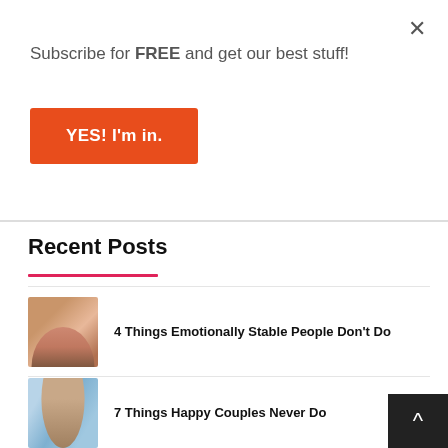Subscribe for FREE and get our best stuff!
YES! I'm in.
Recent Posts
4 Things Emotionally Stable People Don't Do
7 Things Happy Couples Never Do
7 Habits I Wish I Started Earlier In My 20s